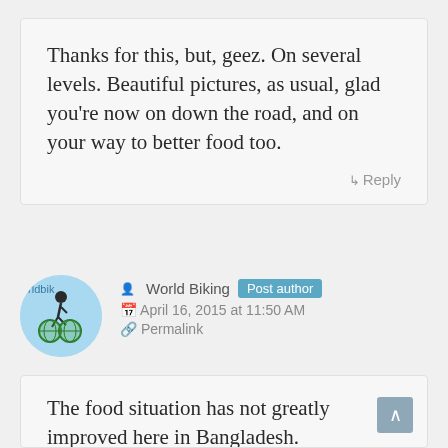Thanks for this, but, geez. On several levels. Beautiful pictures, as usual, glad you're now on down the road, and on your way to better food too.
↳ Reply
[Figure (illustration): Circular avatar icon showing a cyclist on a globe, with light blue background and text 'orldbik' visible]
World Biking Post author
April 16, 2015 at 11:50 AM
Permalink
The food situation has not greatly improved here in Bangladesh.